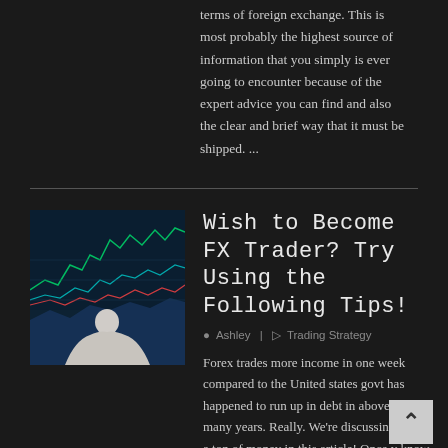terms of foreign exchange. This is most probably the highest source of information that you simply is ever going to encounter because of the expert advice you can find and also the clear and brief way that it must be shipped. ...
[Figure (photo): Man in white shirt viewed from behind looking at a large trading screen with colorful forex/stock charts]
Wish to Become FX Trader? Try Using the Following Tips!
Ashley | Trading Strategy
Forex trades more income in one week compared to the United states govt has happened to run up in debt in above 200 many years. Really. We're discussing a h of a ton of money in this article! Once y know what you're doing being a investor